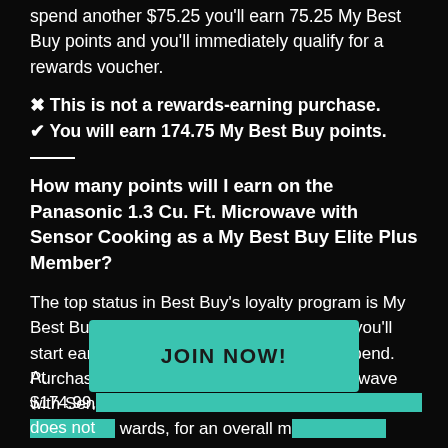spend another $75.25 you'll earn 75.25 My Best Buy points and you'll immediately qualify for a rewards voucher.
✖ This is not a rewards-earning purchase.
✔ You will earn 174.75 My Best Buy points.
How many points will I earn on the Panasonic 1.3 Cu. Ft. Microwave with Sensor Cooking as a My Best Buy Elite Plus Member?
The top status in Best Buy's loyalty program is My Best Buy Elite Plus, and when you reach it you'll start earning 1.25 points for every $1 you spend. Purchasing the Panasonic 1.3 Cu. Ft. Microwave with Sensor Cooking for $174.99 will net you 218... ...wards, for an overall m...
At $174.99, ... does not
[Figure (other): JOIN NOW! teal/green button overlay]